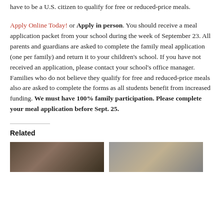have to be a U.S. citizen to qualify for free or reduced-price meals.
Apply Online Today! or Apply in person. You should receive a meal application packet from your school during the week of September 23. All parents and guardians are asked to complete the family meal application (one per family) and return it to your children's school. If you have not received an application, please contact your school's office manager. Families who do not believe they qualify for free and reduced-price meals also are asked to complete the forms as all students benefit from increased funding. We must have 100% family participation. Please complete your meal application before Sept. 25.
Related
[Figure (photo): Thumbnail photo on the left under Related section]
[Figure (photo): Thumbnail photo on the right under Related section]